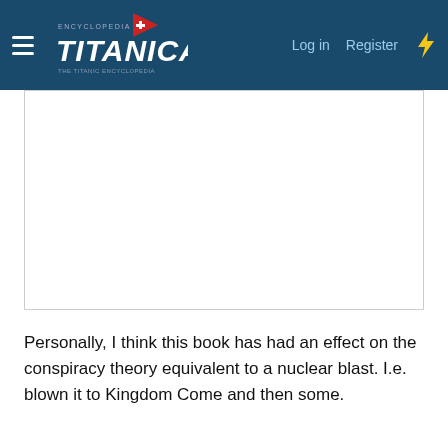Encyclopedia Titanica — Log in  Register
[Figure (other): A white rectangular content card/box below the navigation bar]
Personally, I think this book has had an effect on the conspiracy theory equivalent to a nuclear blast. I.e. blown it to Kingdom Come and then some.